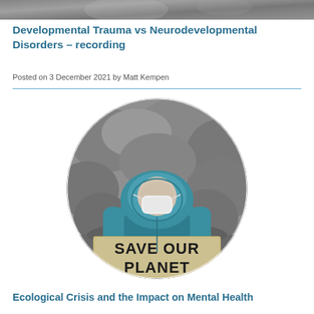[Figure (photo): Top strip image — partial view of a photo, appears to be a blurred or cropped photograph at the top of the page]
Developmental Trauma vs Neurodevelopmental Disorders – recording
Posted on 3 December 2021 by Matt Kempen
[Figure (photo): Circular cropped photograph of a young child wearing a teal/blue hoodie and a white face mask, holding a cardboard sign reading SAVE OUR PLANET, in black and white with the child's hoodie in color]
Ecological Crisis and the Impact on Mental Health